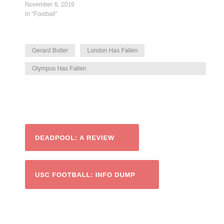November 6, 2019
In "Football"
Gerard Butler
London Has Fallen
Olympus Has Fallen
DEADPOOL: A REVIEW
USC FOOTBALL: INFO DUMP